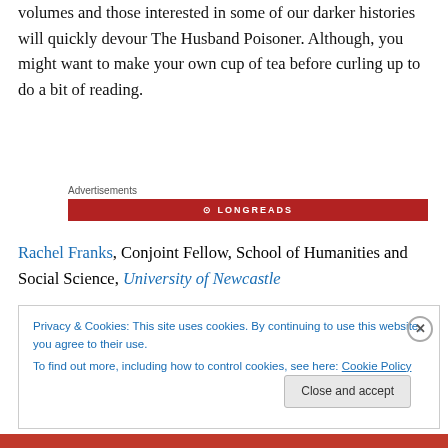volumes and those interested in some of our darker histories will quickly devour The Husband Poisoner. Although, you might want to make your own cup of tea before curling up to do a bit of reading.
Advertisements
Rachel Franks, Conjoint Fellow, School of Humanities and Social Science, University of Newcastle
Privacy & Cookies: This site uses cookies. By continuing to use this website, you agree to their use.
To find out more, including how to control cookies, see here: Cookie Policy
Close and accept